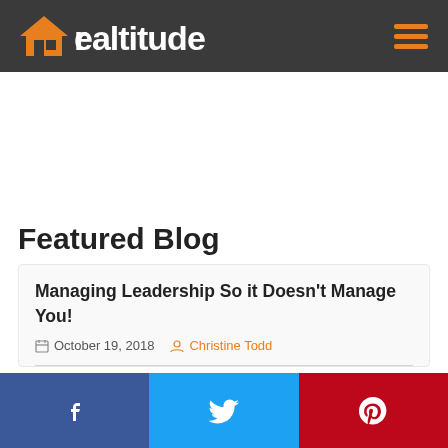realtitude
Featured Blog
Managing Leadership So it Doesn't Manage You!
October 19, 2018  Christine Todd
Facebook  Twitter  Pinterest